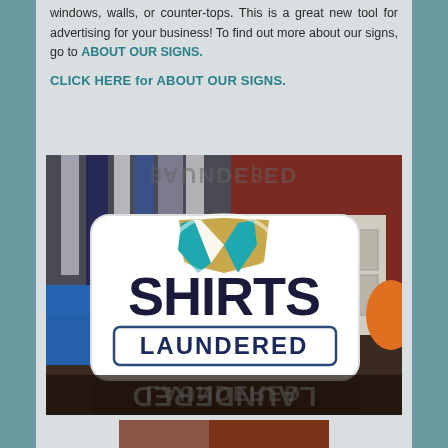windows, walls, or counter-tops. This is a great new tool for advertising for your business! To find out more about our signs, go to ABOUT OUR SIGNS.
CLICK HERE for ABOUT OUR SIGNS.
[Figure (photo): Photo of a laundry/dry cleaning business sign shaped like a shirt with teal jacket lapels and text 'SHIRTS LAUNDERED' in bold dark letters on a white background, with reflection visible below.]
[Figure (photo): Partial photo at bottom of page, partially cut off.]